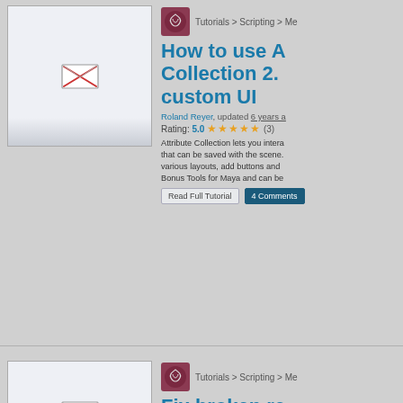[Figure (screenshot): Thumbnail image placeholder with broken image icon (X in envelope shape) for tutorial]
Tutorials > Scripting > Me
How to use A Collection 2. custom UI
Roland Reyer, updated 6 years a
Rating: 5.0 ★★★★★ (3)
Attribute Collection lets you intera that can be saved with the scene. various layouts, add buttons and Bonus Tools for Maya and can be
Read Full Tutorial    4 Comments
[Figure (screenshot): Second thumbnail image placeholder with broken image icon for tutorial]
Tutorials > Scripting > Me
Fix broken re window si